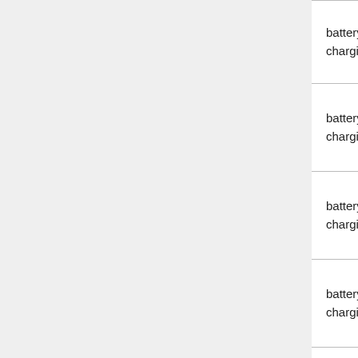| filename | icon | filename@4x |
| --- | --- | --- |
| battery-charging-6.png | [icon] | battery-charging-6@4x.png |
| battery-charging-7.png | [icon] | battery-charging-7@4x.png |
| battery-charging-8.png | [icon] | battery-charging-8@4x.png |
| battery-charging-9.png | [icon] | battery-charging-9@4x.png |
| battery-charging-10.png | [icon] | battery-charging-10@4x.png |